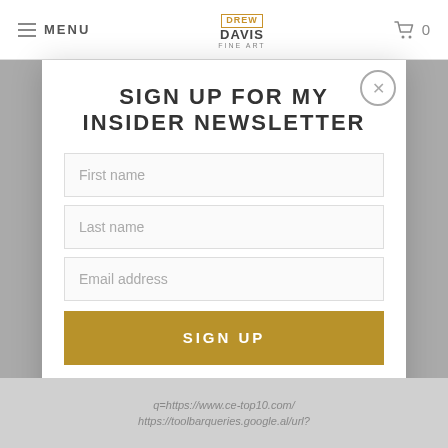MENU | DREW DAVIS FINE ART | 🛒 0
SIGN UP FOR MY INSIDER NEWSLETTER
First name
Last name
Email address
SIGN UP
q=https://www.ce-top10.com/
https://toolbarqueries.google.al/url?